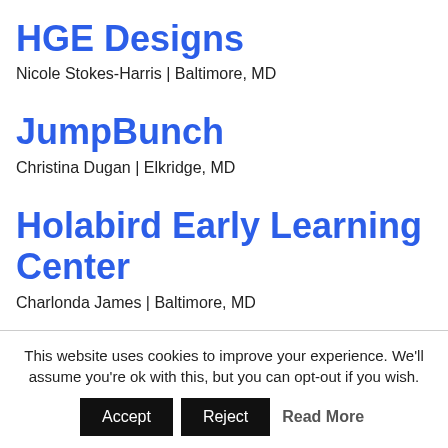HGE Designs
Nicole Stokes-Harris | Baltimore, MD
JumpBunch
Christina Dugan | Elkridge, MD
Holabird Early Learning Center
Charlonda James | Baltimore, MD
House of Music Education
Tedrick Bonds | Bowie, MD
This website uses cookies to improve your experience. We'll assume you're ok with this, but you can opt-out if you wish.